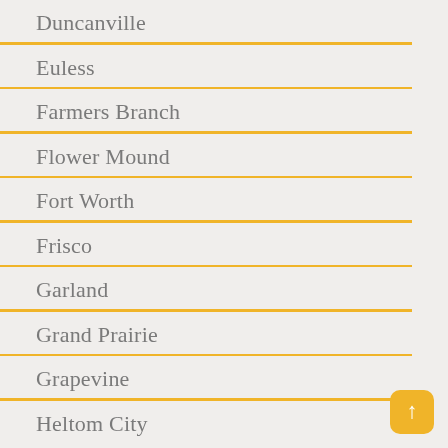Duncanville
Euless
Farmers Branch
Flower Mound
Fort Worth
Frisco
Garland
Grand Prairie
Grapevine
Heltom City